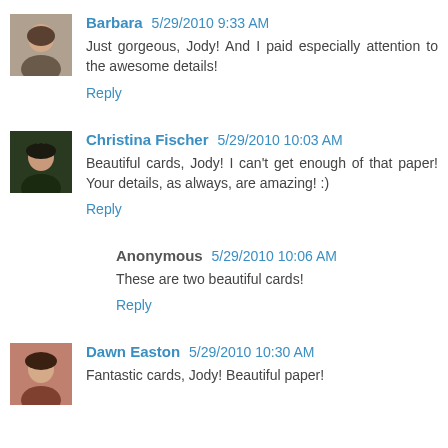Barbara 5/29/2010 9:33 AM
Just gorgeous, Jody! And I paid especially attention to the awesome details!
Reply
Christina Fischer 5/29/2010 10:03 AM
Beautiful cards, Jody! I can't get enough of that paper! Your details, as always, are amazing! :)
Reply
Anonymous 5/29/2010 10:06 AM
These are two beautiful cards!
Reply
Dawn Easton 5/29/2010 10:30 AM
Fantastic cards, Jody! Beautiful paper!